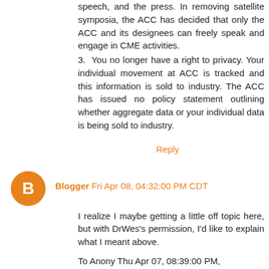speech, and the press. In removing satellite symposia, the ACC has decided that only the ACC and its designees can freely speak and engage in CME activities.
3.  You no longer have a right to privacy. Your individual movement at ACC is tracked and this information is sold to industry. The ACC has issued no policy statement outlining whether aggregate data or your individual data is being sold to industry.
Reply
Blogger  Fri Apr 08, 04:32:00 PM CDT
I realize I maybe getting a little off topic here, but with DrWes's permission, I'd like to explain what I meant above.

To Anony Thu Apr 07, 08:39:00 PM,

This is truly an issue for me. But to clarify, I do NOT object to information being made available to industry and doctors. What I DO object to is limiting patients' access to their remote monitoring data, regardless of how unintelligible or complex we think this data might be to...